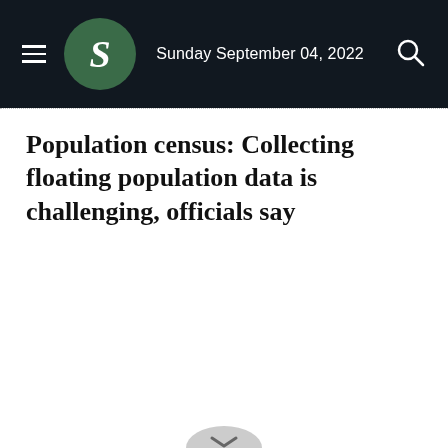Sunday September 04, 2022
Population census: Collecting floating population data is challenging, officials say